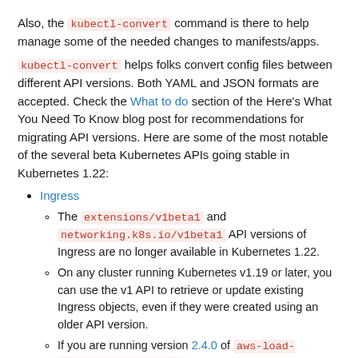Also, the kubectl-convert command is there to help manage some of the needed changes to manifests/apps. kubectl-convert helps folks convert config files between different API versions. Both YAML and JSON formats are accepted. Check the What to do section of the Here's What You Need To Know blog post for recommendations for migrating API versions. Here are some of the most notable of the several beta Kubernetes APIs going stable in Kubernetes 1.22:
Ingress
The extensions/v1beta1 and networking.k8s.io/v1beta1 API versions of Ingress are no longer available in Kubernetes 1.22.
On any cluster running Kubernetes v1.19 or later, you can use the v1 API to retrieve or update existing Ingress objects, even if they were created using an older API version.
If you are running version 2.4.0 of aws-load-balancer-controller , the Ingress